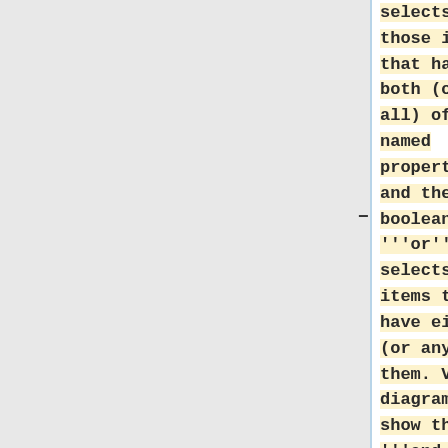selects only those items that have both (or all) of the named properties, and the boolean '''or''' selects items that have either (or any) of them. Venn diagrams show that '''and ''' selects the areas of overlap, while